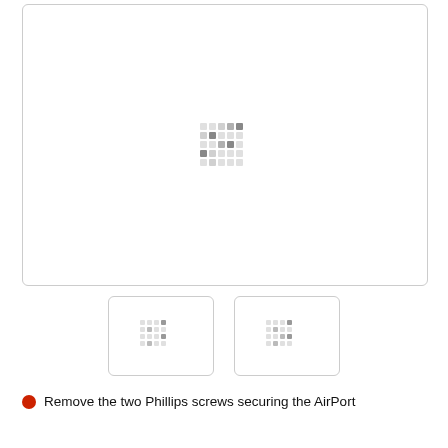[Figure (photo): Large main image placeholder with loading dots pattern in center, white background with rounded border]
[Figure (photo): Thumbnail image placeholder with loading dots pattern]
[Figure (photo): Thumbnail image placeholder with loading dots pattern]
Remove the two Phillips screws securing the AirPort